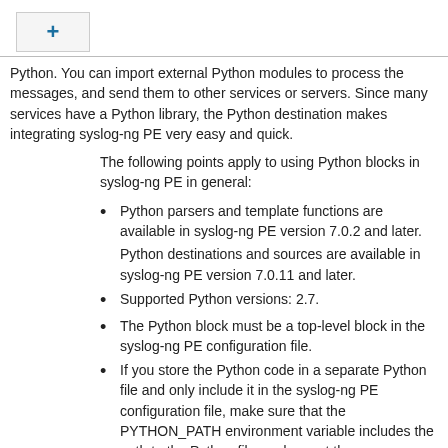[Figure (other): Plus button UI element in a box]
Python. You can import external Python modules to process the messages, and send them to other services or servers. Since many services have a Python library, the Python destination makes integrating syslog-ng PE very easy and quick.
The following points apply to using Python blocks in syslog-ng PE in general:
Python parsers and template functions are available in syslog-ng PE version 7.0.2 and later.
Python destinations and sources are available in syslog-ng PE version 7.0.11 and later.
Supported Python versions: 2.7.
The Python block must be a top-level block in the syslog-ng PE configuration file.
If you store the Python code in a separate Python file and only include it in the syslog-ng PE configuration file, make sure that the PYTHON_PATH environment variable includes the path to the Python file, and export the PYTHON_PATH environment variable. For example, if you start syslog-ng PE manually from a terminal and you store your Python files in the /opt/syslog-ng/etc